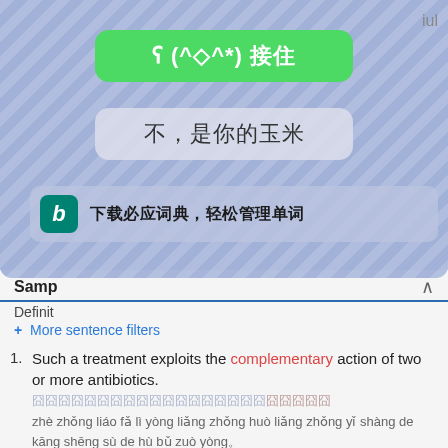[Figure (screenshot): Mobile app popup overlay with green button showing '(^◇^*) 接住', gray button showing '不，是你的玉米', and Bing dictionary banner showing '下载必应词典，轻松管理单词']
Samp [Samples]
Definit [Definition]
+ More sentence filters
1. Such a treatment exploits the complementary action of two or more antibiotics.
[Chinese characters]
zhè zhǒng liáo fǎ lì yòng liǎng zhǒng huò liǎng zhǒng yǐ shàng de kāng shēng sù de hù bǔ zuò yòng。
article.yeeyan.org
2. Strictly, a base pair is a pair of complementary bases (i.e. the A: T, G: C and A: U interactions) held together by hydrogen bonds.
[Chinese characters]
yán gé de shuō , jiǎn jī duì shì yī duì xiāng hù pǐ pèi de jiǎn jī ( jí A:T G:C A:U xiāng hù zuò yòng ) bèi yòng jiàn lián jiē xī lái。